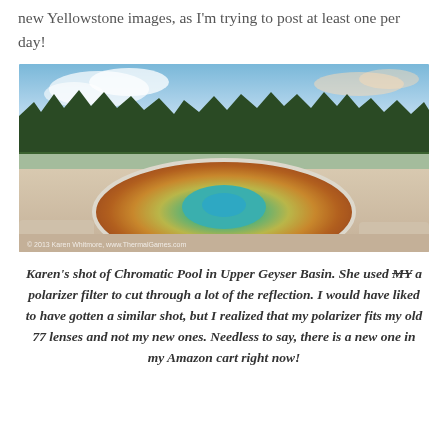new Yellowstone images, as I'm trying to post at least one per day!
[Figure (photo): Photograph of Chromatic Pool in Upper Geyser Basin, Yellowstone. The hot spring shows vivid concentric rings of orange, yellow, and green/teal, surrounded by white mineral deposits. Evergreen trees and a wide flat landscape are reflected in the calm water under a partly cloudy blue sky. Watermark reads: © 2013 Karen Whitmore, www.ThermalGames.com]
Karen's shot of Chromatic Pool in Upper Geyser Basin. She used MY a polarizer filter to cut through a lot of the reflection. I would have liked to have gotten a similar shot, but I realized that my polarizer fits my old 77 lenses and not my new ones. Needless to say, there is a new one in my Amazon cart right now!